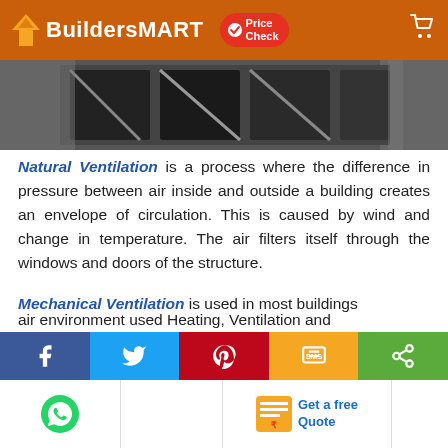BuildersMART
[Figure (photo): Close-up photo of window/door frame with metal hardware in dark tones]
Natural Ventilation is a process where the difference in pressure between air inside and outside a building creates an envelope of circulation. This is caused by wind and change in temperature. The air filters itself through the windows and doors of the structure.
Mechanical Ventilation is used in most buildings
[Figure (infographic): Social media sharing bar with Facebook, Twitter, Pinterest, SMS, and Share buttons]
air environment used Heating, Ventilation and
[Figure (infographic): Bottom bar with WhatsApp icon, Get a free Quote button with QR icon]